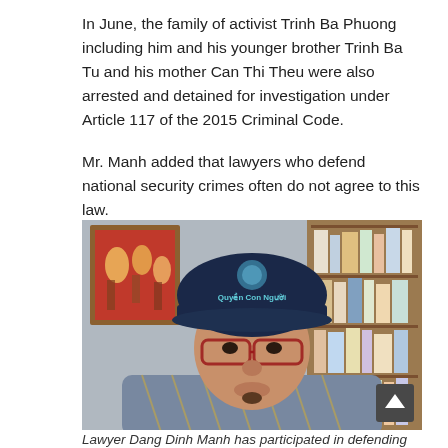In June, the family of activist Trinh Ba Phuong including him and his younger brother Trinh Ba Tu and his mother Can Thi Theu were also arrested and detained for investigation under Article 117 of the 2015 Criminal Code.
Mr. Manh added that lawyers who defend national security crimes often do not agree to this law.
[Figure (photo): Photo of a middle-aged Asian man wearing a dark blue cap with the text 'Quyen Con Nguoi', red-framed glasses, and a patterned shirt. He is seated in front of a bookshelf and a red painting on the wall.]
Lawyer Dang Dinh Manh has participated in defending